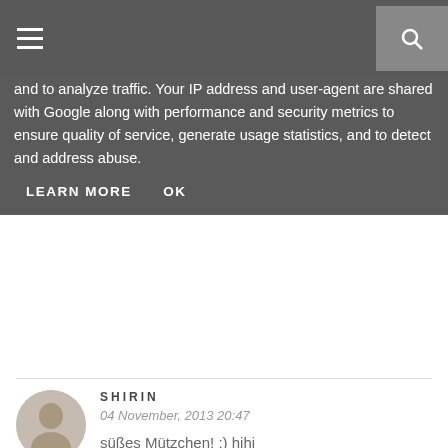[Figure (screenshot): Website top navigation bar with hamburger menu icon on the left and search icon on the right, dark gray background]
and to analyze traffic. Your IP address and user-agent are shared with Google along with performance and security metrics to ensure quality of service, generate usage statistics, and to detect and address abuse.
LEARN MORE   OK
SHIRIN
04 November, 2013 20:47
süßes Mützchen! :) hihi
ach man, ich wünschte du hättest bei meiner damaligen Verlosung gewonnen.
die Gewinnerin hat sich nämlich nicht mehr bei mir